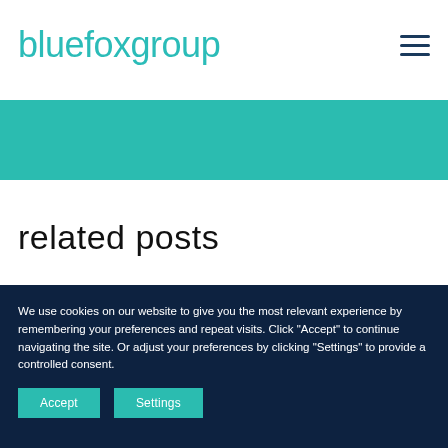bluefoxgroup
[Figure (other): Teal/turquoise horizontal banner bar]
related posts
We use cookies on our website to give you the most relevant experience by remembering your preferences and repeat visits. Click "Accept" to continue navigating the site. Or adjust your preferences by clicking "Settings" to provide a controlled consent.
Accept  Settings